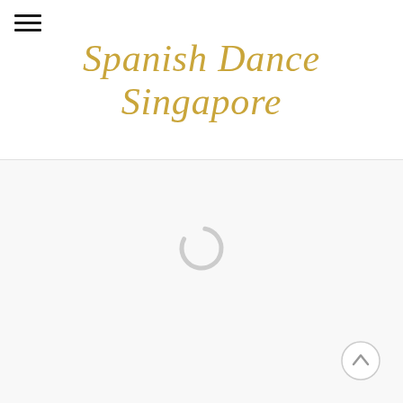Spanish Dance Singapore
[Figure (screenshot): Loading spinner - a circular ring shape in light gray, indicating a page loading state]
[Figure (other): Back-to-top button - a circular button with upward chevron arrow, positioned at bottom right]